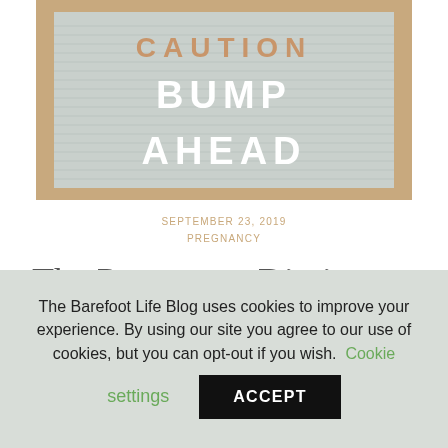[Figure (photo): A felt letter board with wooden frame reading 'CAUTION BUMP AHEAD' in white and copper/rose gold letters on a gray ribbed background.]
SEPTEMBER 23, 2019
PREGNANCY
The Pregnancy Diaries – Month
The Barefoot Life Blog uses cookies to improve your experience. By using our site you agree to our use of cookies, but you can opt-out if you wish. Cookie settings ACCEPT